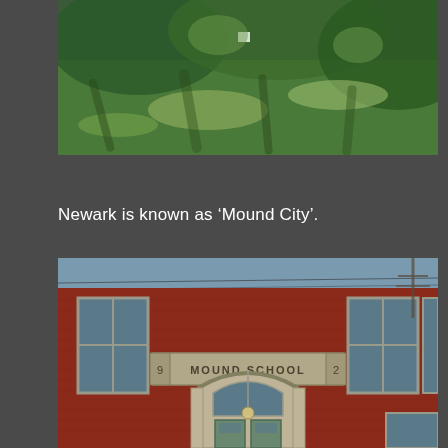[Figure (photo): Aerial or ground-level view of a green grassy area with trees casting dappled shadows, shot from above showing lawn and tree canopy.]
Newark is known as 'Mound City'.
[Figure (photo): Front facade of a red brick school building with stone trim, featuring a central arched entrance doorway, large windows on both sides, and a stone sign reading 'MOUND SCHOOL' with the number 59 below it. The building appears to be a historic early 20th century school.]